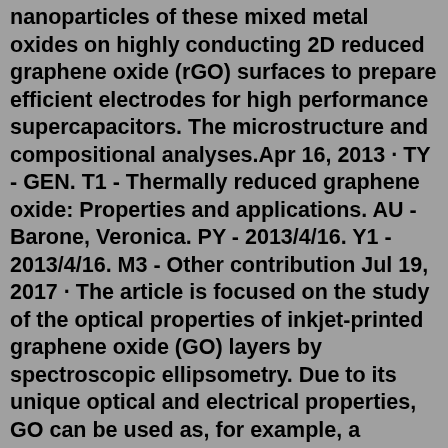nanoparticles of these mixed metal oxides on highly conducting 2D reduced graphene oxide (rGO) surfaces to prepare efficient electrodes for high performance supercapacitors. The microstructure and compositional analyses.Apr 16, 2013 · TY - GEN. T1 - Thermally reduced graphene oxide: Properties and applications. AU - Barone, Veronica. PY - 2013/4/16. Y1 - 2013/4/16. M3 - Other contribution Jul 19, 2017 · The article is focused on the study of the optical properties of inkjet-printed graphene oxide (GO) layers by spectroscopic ellipsometry. Due to its unique optical and electrical properties, GO can be used as, for example, a transparent and flexible electrode material in organic and printed electronics. Spectroscopic ellipsometry was used to characterize the optical response of the GO layer ... Abstract: We report the optical constants of graphene oxide and reduced graphene oxide determined by spectroscopic ellipsometry. The dynamic changes in optical properties and thickness of a drop-cast graphene oxide layer during reduction by long-term exposure to